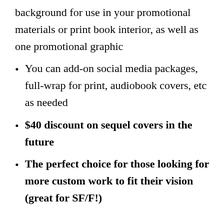background for use in your promotional materials or print book interior, as well as one promotional graphic
You can add-on social media packages, full-wrap for print, audiobook covers, etc as needed
$40 discount on sequel covers in the future
The perfect choice for those looking for more custom work to fit their vision (great for SF/F!)